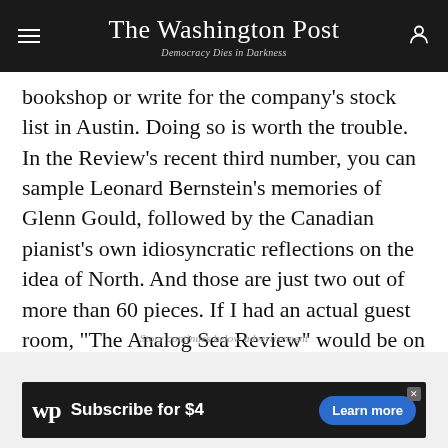The Washington Post — Democracy Dies in Darkness
bookshop or write for the company's stock list in Austin. Doing so is worth the trouble. In the Review's recent third number, you can sample Leonard Bernstein's memories of Glenn Gould, followed by the Canadian pianist's own idiosyncratic reflections on the idea of North. And those are just two out of more than 60 pieces. If I had an actual guest room, “The Analog Sea Review” would be on its nightstand.
Story continues below advertisement
[Figure (screenshot): Washington Post advertisement banner: WP logo, 'Subscribe for $4', 'Learn more' blue button]